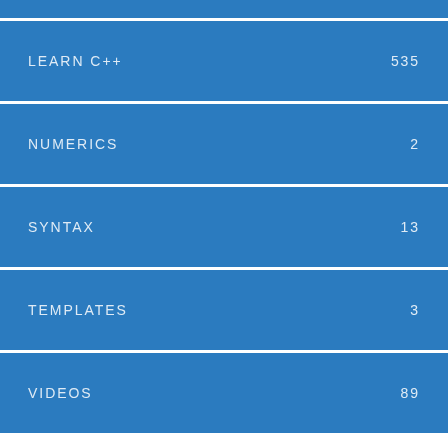LEARN C++ 535
NUMERICS 2
SYNTAX 13
TEMPLATES 3
VIDEOS 89
Newest questions tagged c++build - Stack Overflow